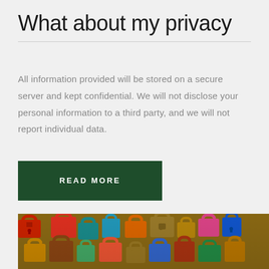What about my privacy
All information provided will be stored on a secure server and kept confidential. We will not disclose your personal information to a third party, and we will not report individual data.
READ MORE
[Figure (photo): A large collection of colorful padlocks of various sizes and colors piled together, depicting security and privacy themes.]